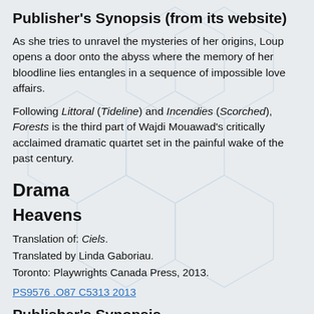Publisher's Synopsis (from its website)
As she tries to unravel the mysteries of her origins, Loup opens a door onto the abyss where the memory of her bloodline lies entangles in a sequence of impossible love affairs.
Following Littoral (Tideline) and Incendies (Scorched), Forests is the third part of Wajdi Mouawad's critically acclaimed dramatic quartet set in the painful wake of the past century.
Drama
Heavens
Translation of: Ciels.
Translated by Linda Gaboriau.
Toronto: Playwrights Canada Press, 2013.
PS9576 .O87 C5313 2013
Publisher's Synopsis